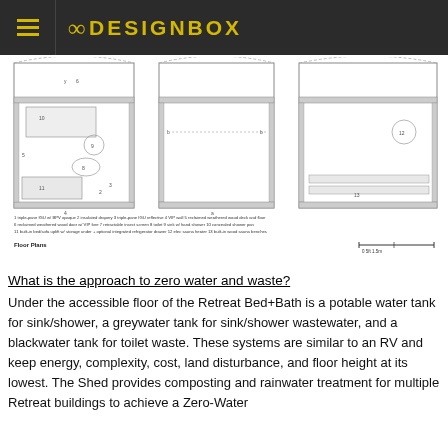8DESIGNBOX
[Figure (engineering-diagram): Three floor plan drawings of a Retreat Bed+Bath building shown side by side. Plans show labeled components including triple-pane IGU, insulated drapery, VIP wall, reclaimed weathered wood deck and floor, retractable insect screen, toilet, sink with hand shower, concealed shower pan, built-in bed/sofa uplift with storage, refrigerator drawer, electric sauna heater, and built-in wood sauna benches. Scale bar shown at bottom right. Caption reads Floor Plans.]
What is the approach to zero water and waste?
Under the accessible floor of the Retreat Bed+Bath is a potable water tank for sink/shower, a greywater tank for sink/shower wastewater, and a blackwater tank for toilet waste. These systems are similar to an RV and keep energy, complexity, cost, land disturbance, and floor height at its lowest. The Shed provides composting and rainwater treatment for multiple Retreat buildings to achieve a Zero-Water